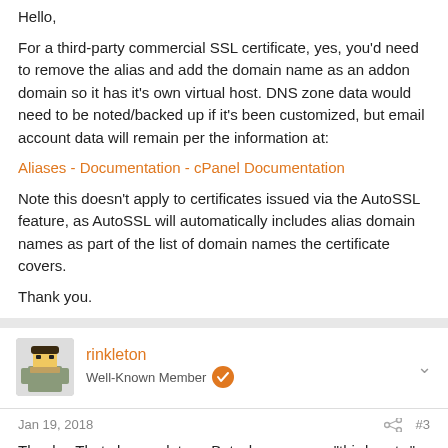Hello,
For a third-party commercial SSL certificate, yes, you'd need to remove the alias and add the domain name as an addon domain so it has it's own virtual host. DNS zone data would need to be noted/backed up if it's been customized, but email account data will remain per the information at:
Aliases - Documentation - cPanel Documentation
Note this doesn't apply to certificates issued via the AutoSSL feature, as AutoSSL will automatically includes alias domain names as part of the list of domain names the certificate covers.
Thank you.
rinkleton
Well-Known Member
Jan 19, 2018
#3
Thanks. That clears a lot up. But when you say "third-party,"